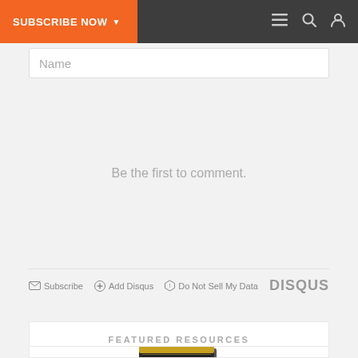SUBSCRIBE NOW | Navigation icons
Name
Be the first to comment.
Subscribe  Add Disqus  Do Not Sell My Data  DISQUS
FEATURED RESOURCES
[Figure (photo): Book cover: HOW DOES YOUR CHOIR GROW?]